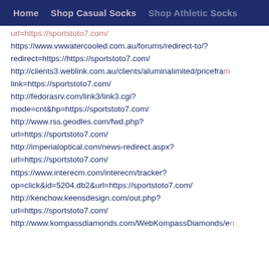Home   Shop Casual Socks   Shop Athletic Socks
url=https://sportstoto7.com/
https://www.vwwatercooled.com.au/forums/redirect-to/?redirect=https://https://sportstoto7.com/
http://clients3.weblink.com.au/clients/aluminalimited/pricefram...link=https://sportstoto7.com/
http://fedorasrv.com/link3/link3.cgi?mode=cnt&hp=https://sportstoto7.com/
http://www.rss.geodles.com/fwd.php?url=https://sportstoto7.com/
http://imperialoptical.com/news-redirect.aspx?url=https://sportstoto7.com/
https://www.interecm.com/interecm/tracker?op=click&id=5204.db2&url=https://sportstoto7.com/
http://kenchow.keensdesign.com/out.php?url=https://sportstoto7.com/
http://www.kompassdiamonds.com/WebKompassDiamonds/en...